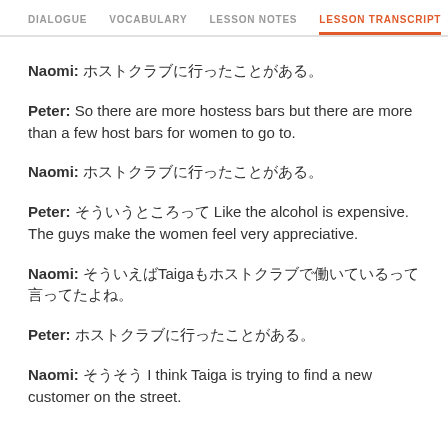DIALOGUE   VOCABULARY   LESSON NOTES   LESSON TRANSCRIPT   K
Naomi: ホストクラブに行ったことがある。
Peter: So there are more hostess bars but there are more than a few host bars for women to go to.
Naomi: ホストクラブに行ったことがある。
Peter: そういうところって Like the alcohol is expensive. The guys make the women feel very appreciative.
Naomi: そういえばTaigaもホストクラブで働いているって言ってたよね。
Peter: ホストクラブに行ったことがある。
Naomi: そうそう I think Taiga is trying to find a new customer on the street.